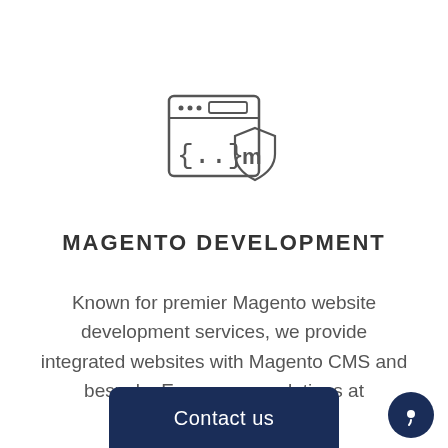[Figure (illustration): Icon showing a browser window with curly braces and a Magento logo (stylized M in a shield)]
MAGENTO DEVELOPMENT
Known for premier Magento website development services, we provide integrated websites with Magento CMS and bespoke Ecommerce solutions at competitive rates.
[Figure (other): Dark navy 'Contact us' button at the bottom center of the page]
[Figure (other): Dark navy circular chat icon button at bottom right]